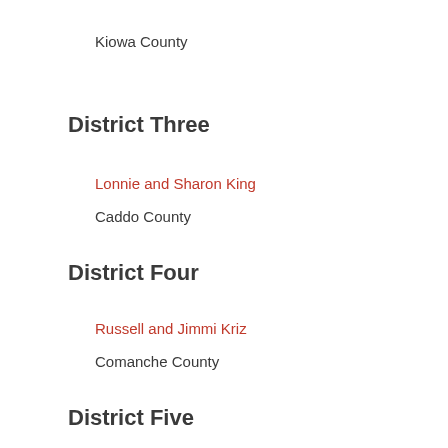Kiowa County
District Three
Lonnie and Sharon King
Caddo County
District Four
Russell and Jimmi Kriz
Comanche County
District Five
Jeff and Holly Cooper
LeFlore County
District Six
Bert and Kelly Wiedel